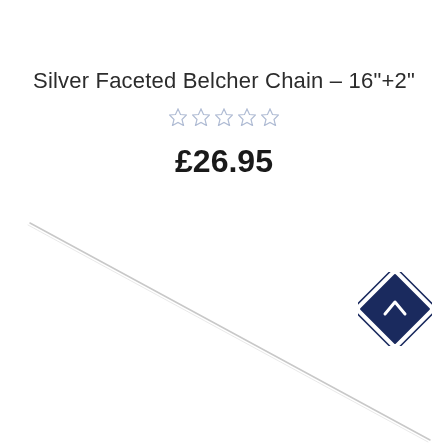Silver Faceted Belcher Chain - 16"+2"
★★★★★ (empty stars rating)
£26.95
[Figure (photo): A thin silver faceted belcher chain photographed diagonally across a white background, running from upper-left to lower-right.]
[Figure (logo): A navy blue diamond-shaped badge with a white upward chevron arrow icon, outlined with a thin navy border.]